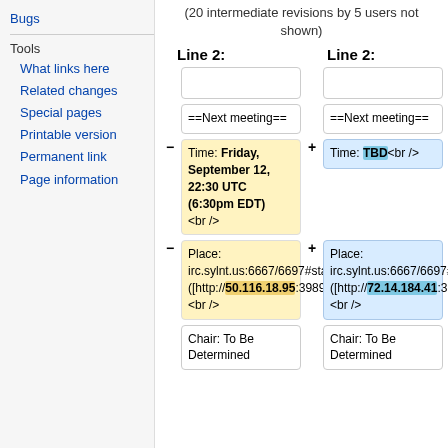Bugs
Tools
What links here
Related changes
Special pages
Printable version
Permanent link
Page information
(20 intermediate revisions by 5 users not shown)
Line 2:	Line 2:
| − | Line 2 (removed) | + | Line 2 (added) |
| --- | --- | --- | --- |
|  | (empty) |  | (empty) |
|  | ==Next meeting== |  | ==Next meeting== |
| − | Time: Friday, September 12, 22:30 UTC (6:30pm EDT) <br /> | + | Time: TBD<br /> |
| − | Place: irc.sylnt.us:6667/6697#staff ([http://50.116.18.95:3989/Webchat])<br /> | + | Place: irc.sylnt.us:6667/6697#staff ([http://72.14.184.41:3989/Webchat])<br /> |
|  | Chair: To Be Determined |  | Chair: To Be Determined |